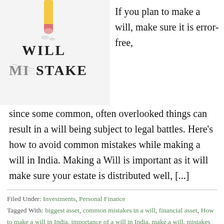[Figure (photo): Photo of a hand using a pencil eraser to erase the word MISTAKE, with the letters WILL visible being erased. Bold black serif text on white background.]
If you plan to make a will, make sure it is error-free, since some common, often overlooked things can result in a will being subject to legal battles. Here’s how to avoid common mistakes while making a will in India. Making a Will is important as it will make sure your estate is distributed well, [...]
Filed Under: Investments, Personal Finance
Tagged With: biggest asset, common mistakes in a will, financial asset, How to make a will in India, importance of a will in India, make a will, mistakes to avoid while making a will in India, will in India, will mistakes